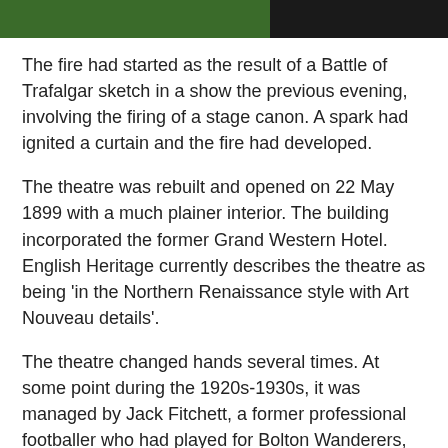[Figure (photo): Two partial images at the top of the page — left portion showing a green-toned image, right portion showing a dark/black image]
The fire had started as the result of a Battle of Trafalgar sketch in a show the previous evening, involving the firing of a stage canon. A spark had ignited a curtain and the fire had developed.
The theatre was rebuilt and opened on 22 May 1899 with a much plainer interior. The building incorporated the former Grand Western Hotel. English Heritage currently describes the theatre as being 'in the Northern Renaissance style with Art Nouveau details'.
The theatre changed hands several times. At some point during the 1920s-1930s, it was managed by Jack Fitchett, a former professional footballer who had played for Bolton Wanderers, Manchester United and Plymouth Argyle.